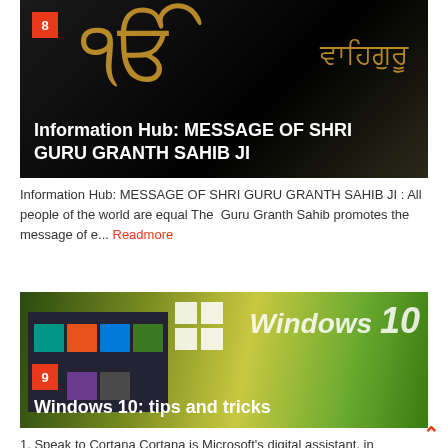[Figure (screenshot): Article thumbnail with black background showing golden Sikh symbol (Ik Onkar) and Punjabi text in gold, with number badge 8 in red, and white title text 'Information Hub: MESSAGE OF SHRI GURU GRANTH SAHIB JI']
Information Hub: MESSAGE OF SHRI GURU GRANTH SAHIB JI : All people of the world are equal The  Guru Granth Sahib  promotes the message of e... Readmore
[Figure (screenshot): Article thumbnail with Windows 10 branding on yellow-green background, showing Windows start menu with colorful tiles, number badge 9 in red, and white title text 'Windows 10: tips and tricks']
1. Speak to Cortana Cortana is Microsoft's digital assistant, in